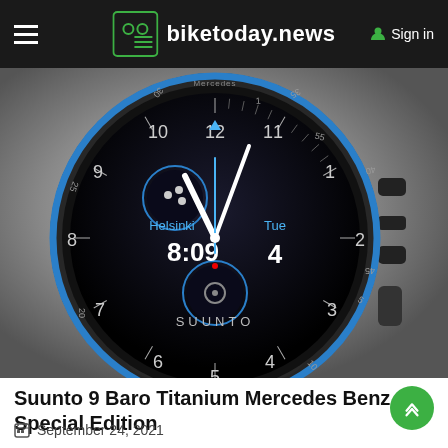biketoday.news  Sign in
[Figure (photo): Close-up photo of a Suunto 9 Baro Titanium Mercedes Benz Special Edition smartwatch with a black dial showing Helsinki 8:09, Tue 4, and SUUNTO branding, with a white rubber strap, on a grey gradient background.]
Suunto 9 Baro Titanium Mercedes Benz Special Edition
September 24, 2021